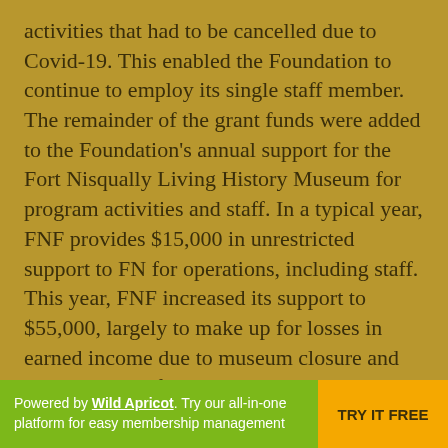activities that had to be cancelled due to Covid-19. This enabled the Foundation to continue to employ its single staff member.  The remainder of the grant funds were added to the Foundation's annual support for the Fort Nisqually Living History Museum for program activities and staff. In a typical year, FNF provides $15,000 in unrestricted support to FN for operations, including staff. This year, FNF increased its support to $55,000, largely to make up for losses in earned income due to museum closure and cancellations of events, rentals, and programs. This helped ensure that Metro Parks Tacoma was able to call back from furlough Fort Nisqually's curator and retain her through the end of the year.
Powered by Wild Apricot. Try our all-in-one platform for easy membership management  TRY IT FREE